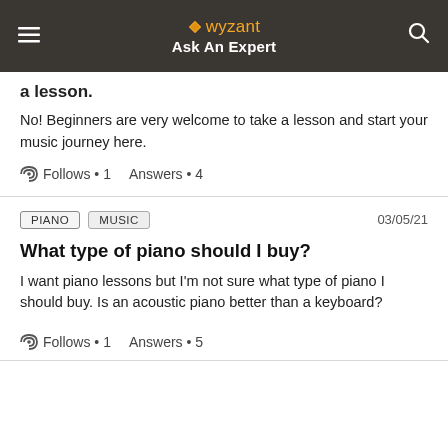wyzant Ask An Expert
a lesson.
No! Beginners are very welcome to take a lesson and start your music journey here.
Follows • 1    Answers • 4
PIANO   MUSIC   03/05/21
What type of piano should I buy?
I want piano lessons but I'm not sure what type of piano I should buy. Is an acoustic piano better than a keyboard?
Follows • 1    Answers • 5